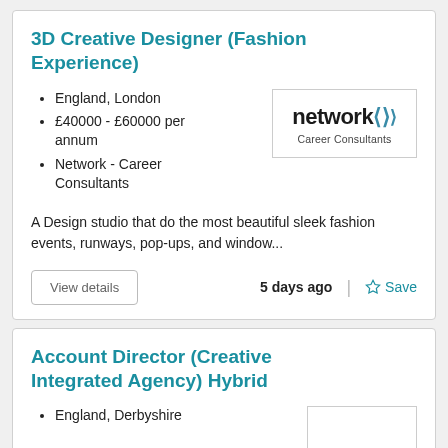3D Creative Designer (Fashion Experience)
England, London
£40000 - £60000 per annum
Network - Career Consultants
[Figure (logo): Network Career Consultants logo — bold 'network' text with double arrow symbol in teal, subtitle 'Career Consultants']
A Design studio that do the most beautiful sleek fashion events, runways, pop-ups, and window...
View details
5 days ago
Save
Account Director (Creative Integrated Agency) Hybrid
England, Derbyshire